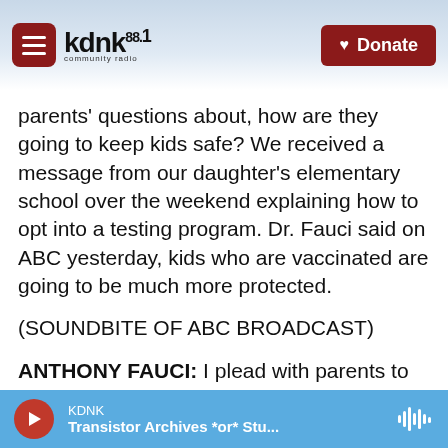[Figure (screenshot): KDNK 88.1 community radio website header with hamburger menu button, logo, mountain background, and red Donate button]
parents' questions about, how are they going to keep kids safe? We received a message from our daughter's elementary school over the weekend explaining how to opt into a testing program. Dr. Fauci said on ABC yesterday, kids who are vaccinated are going to be much more protected.
(SOUNDBITE OF ABC BROADCAST)
ANTHONY FAUCI: I plead with parents to please seriously consider vaccinating your children, wearing masks in the school setting, doing tests to stay. All of those things put together, it's safe
[Figure (screenshot): Audio player bar in blue showing KDNK station name, 'Transistor Archives *or* Stu...' track title, red play button, and waveform icon]